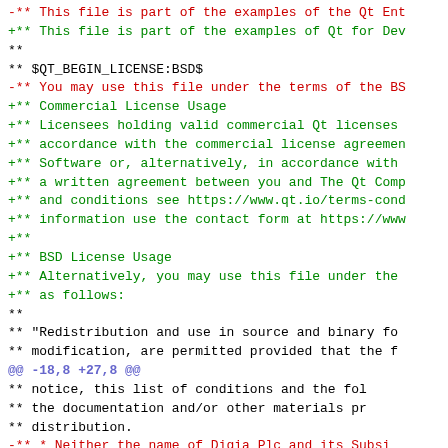Diff/patch code showing Qt license header change from Digia to Qt Company, BSD license addition
[Figure (screenshot): Source code diff showing removal of old Qt Enterprise license header (red lines) and addition of new Qt for Device Creation / Commercial + BSD license header (green lines), with a diff hunk marker @@ -18,8 +27,8 @@ in blue/purple]